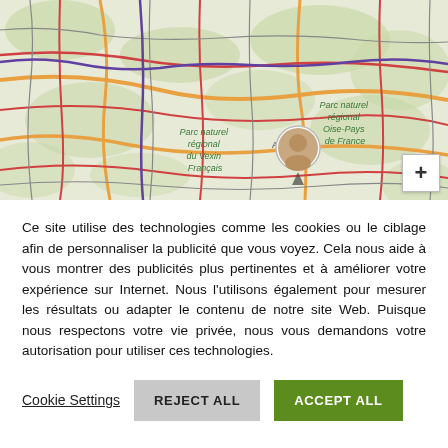[Figure (map): An OpenStreetMap-style road map showing the region northwest of Paris, France, with labels for Parc naturel régional du Vexin Français and Parc naturel régional Oise-Pays de France. A map pin with a person's photo is visible near the center-right. A zoom-in (+) button is in the bottom-right corner.]
Ce site utilise des technologies comme les cookies ou le ciblage afin de personnaliser la publicité que vous voyez. Cela nous aide à vous montrer des publicités plus pertinentes et à améliorer votre expérience sur Internet. Nous l'utilisons également pour mesurer les résultats ou adapter le contenu de notre site Web. Puisque nous respectons votre vie privée, nous vous demandons votre autorisation pour utiliser ces technologies.
Cookie Settings
REJECT ALL
ACCEPT ALL